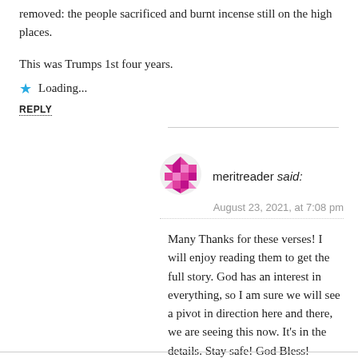removed: the people sacrificed and burnt incense still on the high places.
This was Trumps 1st four years.
Loading...
REPLY
meritreader said:
August 23, 2021, at 7:08 pm
Many Thanks for these verses! I will enjoy reading them to get the full story. God has an interest in everything, so I am sure we will see a pivot in direction here and there, we are seeing this now. It’s in the details. Stay safe! God Bless!
Loading...
REPLY